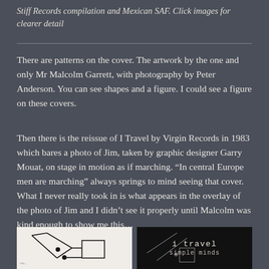Stiff Records compilation and Mexican SAF. Click images for clearer detail
There are patterns on the cover. The artwork by the one and only Mr Malcolm Garrett, with photography by Peter Anderson. You can see shapes and a figure. I could see a figure on these covers.
Then there is the reissue of I Travel by Virgin Records in 1983 which bares a photo of Jim, taken by graphic designer Garry Mouat, on stage in motion as if marching. “In central Europe men are marching” always springs to mind seeing that cover. What I never really took in is what appears in the overlay of the photo of Jim and I didn’t see it properly until Malcolm was kind enough to show me this…
[Figure (illustration): White background with geometric line art showing angular shapes, two black circles/dots, and a rectangle — part of Simple Minds I Travel cover artwork by Malcolm Garrett. Copyright watermark visible.]
[Figure (photo): Black background with text 'i travel' and 'simple minds' in monospace font, overlaid with geometric lines and a partially visible hand/figure — the I Travel single cover by Virgin Records 1983.]